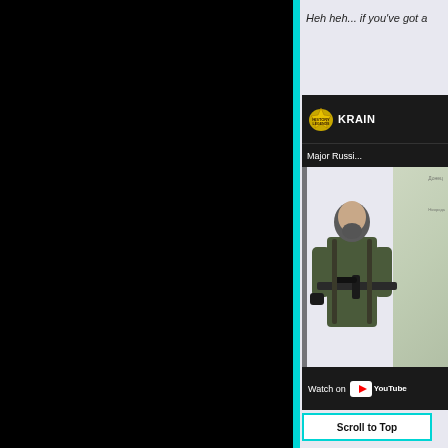Heh heh... if you've got a
[Figure (screenshot): YouTube video embed thumbnail showing a soldier in military gear holding a rifle, with a map background. Channel shows 'History Legends' badge and 'Ukraine' channel name. Video title partially visible: 'Major Russi...' Watch on YouTube button at bottom.]
Watch on YouTube